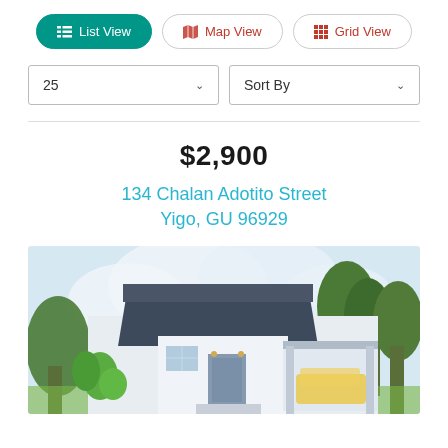[Figure (screenshot): Navigation bar with three view toggle buttons: List View (active, teal), Map View, Grid View]
25
Sort By
$2,900
134 Chalan Adotito Street
Yigo, GU 96929
[Figure (photo): Exterior photo of a modern single-story house with dark gray upper accent wall, white walls, carport, surrounded by tropical greenery]